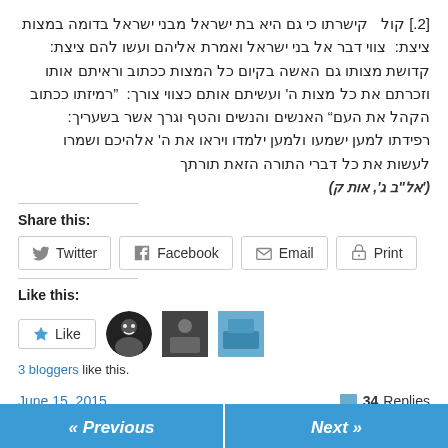[2.] קול  קישרתו כי גם היא בת ישראל מבני ישראל בדומה במצות ציצת:  צווי דבר אל בני ישראל ואמרת אליהם ועשו להם ציצת:  קדושת מצותו גם האשה בקיום כל המצות ככתוב וראיתם אותו וזכרתם את כל מצות ה' ועשיתם אותם כצווי צורך:  'רמיזתו ככתוב הקהל את העם' האנשים והנשים והטף וגרך אשר בשעריך:  רפידתו למען ישמעו ולמען ילמדו ויראו את ה' אלהיכם ושמרו לעשות את כל דברי התורה הזאת תורתך
('אל"ב ג', אות ק)
Share this:
Twitter  Facebook  Email  Print
Like this:
Like  3 bloggers like this.
June 15, 2015
34 Replies
« Previous
Next »